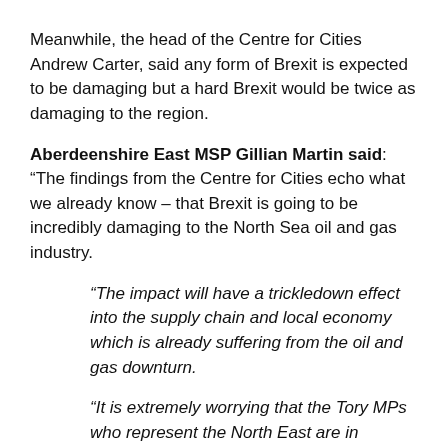Meanwhile, the head of the Centre for Cities Andrew Carter, said any form of Brexit is expected to be damaging but a hard Brexit would be twice as damaging to the region.
Aberdeenshire East MSP Gillian Martin said: “The findings from the Centre for Cities echo what we already know – that Brexit is going to be incredibly damaging to the North Sea oil and gas industry.
“The impact will have a trickledown effect into the supply chain and local economy which is already suffering from the oil and gas downturn.
“It is extremely worrying that the Tory MPs who represent the North East are in support of Brexit rather than protecting this vital sector and the region’s economic development.
“I would urge them all to think again before it is too late. Aberdeen has access to countries across the world due to the very EU treaties we will no longer